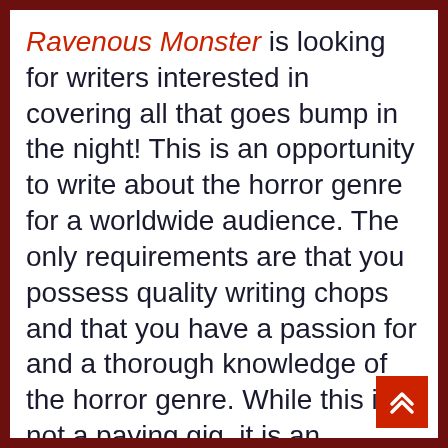Ravenous Monster is looking for writers interested in covering all that goes bump in the night! This is an opportunity to write about the horror genre for a worldwide audience. The only requirements are that you possess quality writing chops and that you have a passion for and a thorough knowledge of the horror genre. While this is not a paying gig, it is an opportunity to get published, to network within the industry, and to get early exclusive